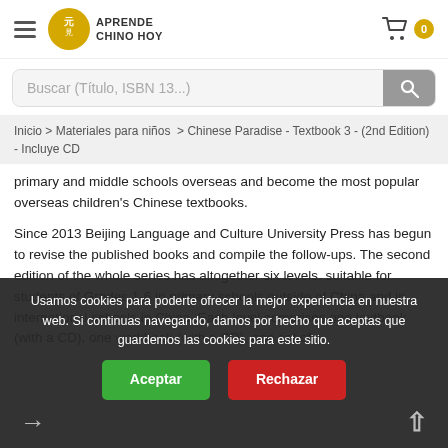[Figure (logo): Aprende Chino Hoy logo with circular gold emblem and hamburger menu, plus shopping cart icon with badge '0']
Buscar (Título, ISBN 13...)
Inicio > Materiales para niños > Chinese Paradise - Textbook 3 - (2nd Edition) - Incluye CD
primary and middle schools overseas and become the most popular overseas children's Chinese textbooks.

Since 2013 Beijing Language and Culture University Press has begun to revise the published books and compile the follow-ups. The second edition of the whole series has altogether six levels, suitable for students of Grades 1-6 in primary schools outside of China and in international schools in China. Each level comprises one textbook (with a CD), one workbook (with a CD), one set of word cards (in all corresponding language editions), one teacher's book (in all language editions), one corresponding reader, one set of test and tear multimedia CD-ROMs.
Usamos cookies para poderte ofrecer la mejor experiencia en nuestra web. Si continuas navegando, damos por hecho que aceptas que guardemos las cookies para este sitio.
Aceptar
Rechazar